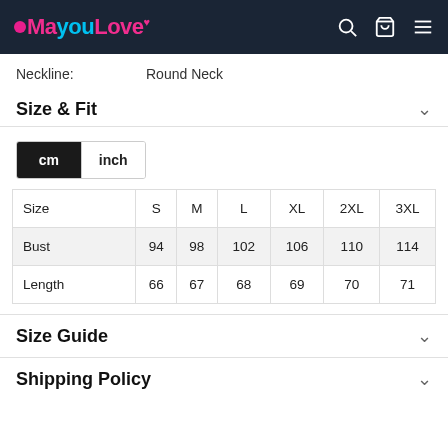MayouLove — navigation header
Neckline: Round Neck
Size & Fit
| Size | S | M | L | XL | 2XL | 3XL |
| --- | --- | --- | --- | --- | --- | --- |
| Bust | 94 | 98 | 102 | 106 | 110 | 114 |
| Length | 66 | 67 | 68 | 69 | 70 | 71 |
Size Guide
Shipping Policy